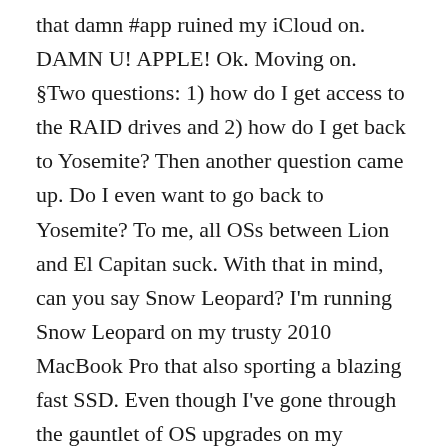that damn #app ruined my iCloud on. DAMN U! APPLE! Ok. Moving on. §Two questions: 1) how do I get access to the RAID drives and 2) how do I get back to Yosemite? Then another question came up. Do I even want to go back to Yosemite? To me, all OSs between Lion and El Capitan suck. With that in mind, can you say Snow Leopard? I'm running Snow Leopard on my trusty 2010 MacBook Pro that also sporting a blazing fast SSD. Even though I've gone through the gauntlet of OS upgrades on my 2010MBP, most of which suck because of the battery, I've alway found myself returning to Snow Leopard. The fact is, I love simplicity, sleekness, minimalism. Which mean, I think I'm starting to hate The Cloud. IMHO, The Cloud is screwing up MacOS. Even though I love the idear of being able to type something on my iPad